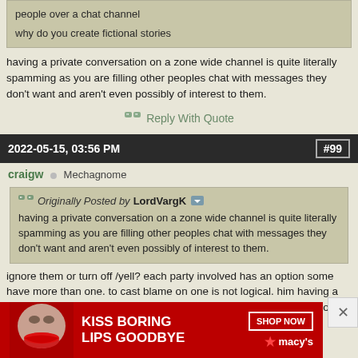people over a chat channel
why do you create fictional stories
having a private conversation on a zone wide channel is quite literally spamming as you are filling other peoples chat with messages they don't want and aren't even possibly of interest to them.
Reply With Quote
2022-05-15, 03:56 PM  #99
craigw  ○  Mechagnome
Originally Posted by LordVargK
having a private conversation on a zone wide channel is quite literally spamming as you are filling other peoples chat with messages they don't want and aren't even possibly of interest to them.
ignore them or turn off /yell? each party involved has an option some have more than one. to cast blame on one is not logical. him having a conversation in a chat channel whether it be /2,/4,/yell,/guild is in no way a banable offense. unless of course the system of reporting is abused. as there are other options like a simple /ignore him... by default.
[Figure (photo): Macy's advertisement: KISS BORING LIPS GOODBYE with a woman's face and red lips, SHOP NOW button, and Macy's star logo]